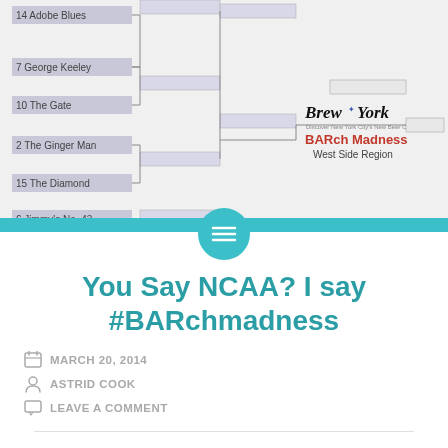[Figure (infographic): NCAA-style bracket tournament diagram titled 'BARch Madness West Side Region' showing bars/teams: 14 Adobe Blues, 7 George Keeley, 10 The Gate, 2 The Ginger Man, 15 The Diamond, 6 Jimmy's No. 43 with bracket matchup lines and Brew York logo]
You Say NCAA? I say #BARchmadness
MARCH 20, 2014
ASTRID COOK
LEAVE A COMMENT
Okay, so two things you should know off the bat: